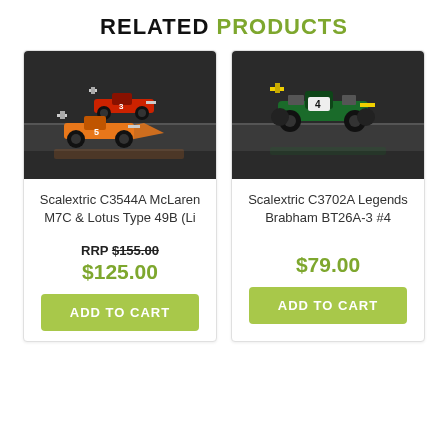RELATED PRODUCTS
[Figure (photo): Photo of Scalextric C3544A McLaren M7C & Lotus Type 49B slot car models on a racing track, with red and orange cars]
Scalextric C3544A McLaren M7C & Lotus Type 49B (Li
RRP $155.00
$125.00
ADD TO CART
[Figure (photo): Photo of Scalextric C3702A Legends Brabham BT26A-3 #4 slot car model in green and yellow on a racing track]
Scalextric C3702A Legends Brabham BT26A-3 #4
$79.00
ADD TO CART